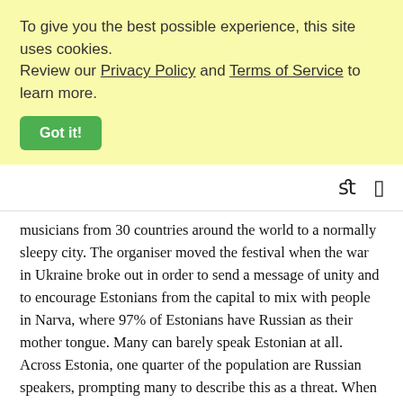To give you the best possible experience, this site uses cookies. Review our Privacy Policy and Terms of Service to learn more.
Got it!
musicians from 30 countries around the world to a normally sleepy city. The organiser moved the festival when the war in Ukraine broke out in order to send a message of unity and to encourage Estonians from the capital to mix with people in Narva, where 97% of Estonians have Russian as their mother tongue. Many can barely speak Estonian at all. Across Estonia, one quarter of the population are Russian speakers, prompting many to describe this as a threat. When Putin invaded Ukraine on the premise of liberating Russian speakers there, it lead to many in the press to ask ‘is Narva next?’ but a new generation of Russian speaking Estonians are increasingly frustrated by this rhetoric and say it simply isn't true. Russian speakers are even signing up to Estonia’s volunteer defence force, ready to fight to defend Estonia should the worst happen. Their